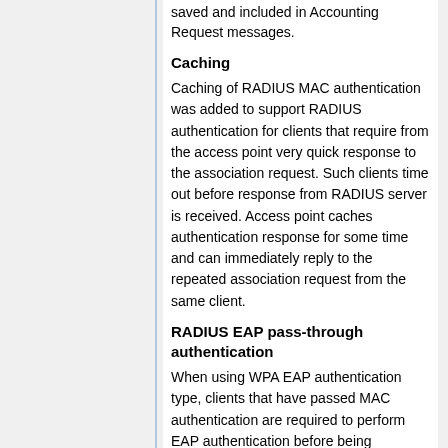saved and included in Accounting Request messages.
Caching
Caching of RADIUS MAC authentication was added to support RADIUS authentication for clients that require from the access point very quick response to the association request. Such clients time out before response from RADIUS server is received. Access point caches authentication response for some time and can immediately reply to the repeated association request from the same client.
RADIUS EAP pass-through authentication
When using WPA EAP authentication type, clients that have passed MAC authentication are required to perform EAP authentication before being authorized to pass data on wireless network. With pass-through EAP method the access point will relay authentication to RADIUS server, and use following attributes in the Access-Request RADIUS message: